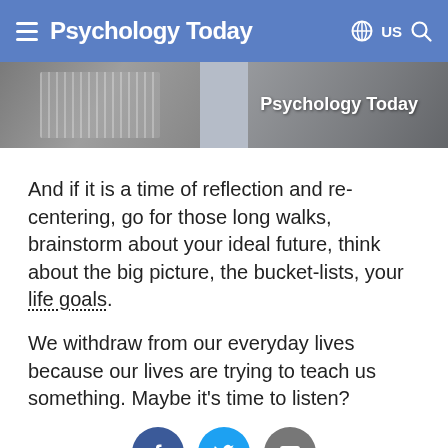Psychology Today — US
[Figure (photo): Hero image showing a hand holding a book/phone with Psychology Today logo overlay text]
And if it is a time of reflection and re-centering, go for those long walks, brainstorm about your ideal future, think about the big picture, the bucket-lists, your life goals.
We withdraw from our everyday lives because our lives are trying to teach us something. Maybe it's time to listen?
[Figure (infographic): Social sharing icons: Facebook, Twitter, Email]